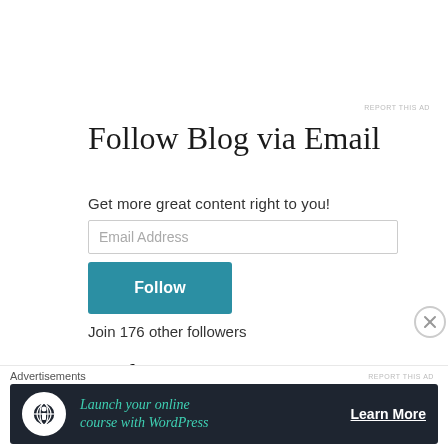REPORT THIS AD
Follow Blog via Email
Get more great content right to you!
Email Address
Follow
Join 176 other followers
Author
[Figure (photo): Dark author photo partially visible at bottom of page]
Advertisements
[Figure (infographic): Advertisement banner: Launch your online course with WordPress — Learn More button, dark background with teal text and WordPress logo icon]
REPORT THIS AD